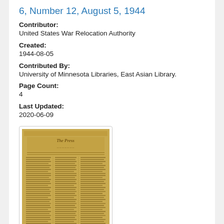6, Number 12, August 5, 1944
Contributor:
United States War Relocation Authority
Created:
1944-08-05
Contributed By:
University of Minnesota Libraries, East Asian Library.
Page Count:
4
Last Updated:
2020-06-09
[Figure (photo): Thumbnail image of a yellowed newspaper front page, appearing to be a historical wartime publication with multiple columns of text and a masthead.]